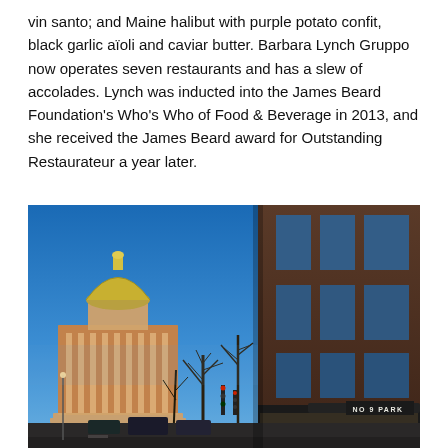vin santo; and Maine halibut with purple potato confit, black garlic aïoli and caviar butter. Barbara Lynch Gruppo now operates seven restaurants and has a slew of accolades. Lynch was inducted into the James Beard Foundation's Who's Who of Food & Beverage in 2013, and she received the James Beard award for Outstanding Restaurateur a year later.
[Figure (photo): Street-level photograph of Boston at dusk/dawn showing the Massachusetts State House with its golden dome on the left, bare winter trees in the middle, and a brick building with large windows on the right displaying a sign reading 'NO 9 PARK'. Blue sky, warm lighting on buildings, cars on street.]